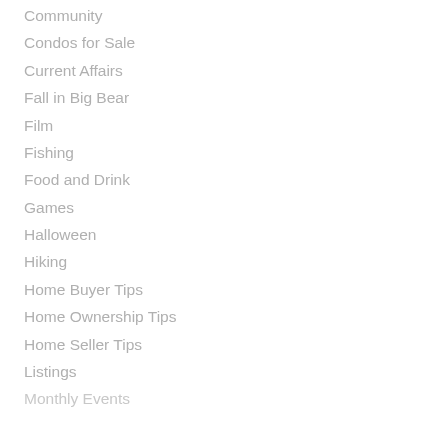Community
Condos for Sale
Current Affairs
Fall in Big Bear
Film
Fishing
Food and Drink
Games
Halloween
Hiking
Home Buyer Tips
Home Ownership Tips
Home Seller Tips
Listings
Monthly Events